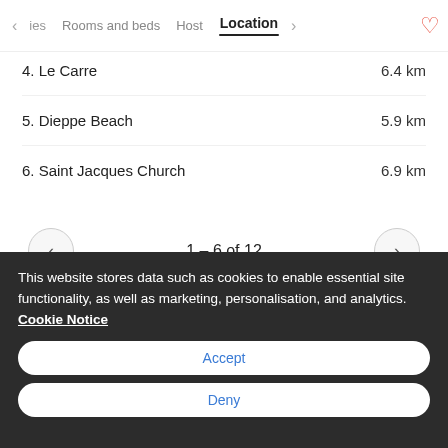< les   Rooms and beds   Host   Location   >  ♥
4. Le Carre   6.4 km
5. Dieppe Beach   5.9 km
6. Saint Jacques Church   6.9 km
1 – 6 of 12
This website stores data such as cookies to enable essential site functionality, as well as marketing, personalisation, and analytics. Cookie Notice
Accept
Deny